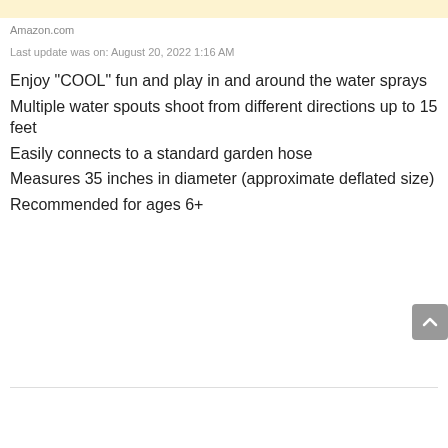Amazon.com
Last update was on: August 20, 2022 1:16 AM
Enjoy "COOL" fun and play in and around the water sprays
Multiple water spouts shoot from different directions up to 15 feet
Easily connects to a standard garden hose
Measures 35 inches in diameter (approximate deflated size)
Recommended for ages 6+